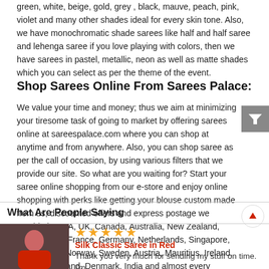green, white, beige, gold, grey , black, mauve, peach, pink, violet and many other shades ideal for every skin tone. Also, we have monochromatic shade sarees like half and half saree and lehenga saree if you love playing with colors, then we have sarees in pastel, metallic, neon as well as matte shades which you can select as per the theme of the event.
Shop Sarees Online From Sarees Palace:
We value your time and money; thus we aim at minimizing your tiresome task of going to market by offering sarees online at sareespalace.com where you can shop at anytime and from anywhere. Also, you can shop saree as per the call of occasion, by using various filters that we provide our site. So what are you waiting for? Start your saree online shopping from our e-store and enjoy online shopping with perks like getting your blouse custom made from us, discounted offers and express postage we provide in USA, UK, Canada, Australia, New Zealand, South Africa, France, Germany, Netherlands, Singapore, Switzerland, Norway, Sweden, Austria, Mauritius, Ireland, Belgium, Finland, Denmark, India and almost every country of the world.
What Are People Saying
[Figure (photo): Photo of a woman in a red silk saree]
★★★★★
Silk Classic Saree in Red
Thank you very much for sending my stuff on time. I'm